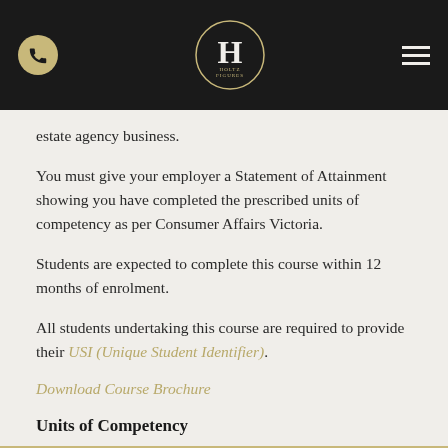[Header bar with phone icon, H logo, and hamburger menu]
estate agency business.
You must give your employer a Statement of Attainment showing you have completed the prescribed units of competency as per Consumer Affairs Victoria.
Students are expected to complete this course within 12 months of enrolment.
All students undertaking this course are required to provide their USI (Unique Student Identifier).
Download Course Brochure
Units of Competency